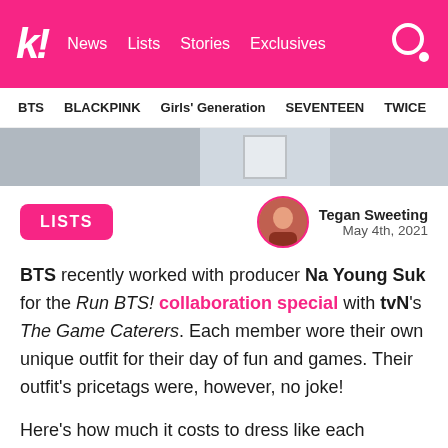k! News  Lists  Stories  Exclusives
BTS  BLACKPINK  Girls' Generation  SEVENTEEN  TWICE
[Figure (photo): Partial photo strip showing BTS members in outfits]
LISTS
Tegan Sweeting
May 4th, 2021
BTS recently worked with producer Na Young Suk for the Run BTS! collaboration special with tvN's The Game Caterers. Each member wore their own unique outfit for their day of fun and games. Their outfit's pricetags were, however, no joke!
Here's how much it costs to dress like each member: